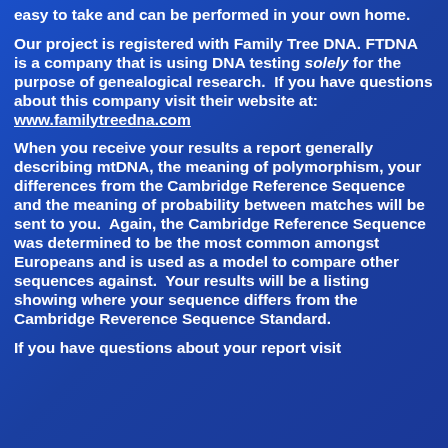easy to take and can be performed in your own home.
Our project is registered with Family Tree DNA. FTDNA is a company that is using DNA testing solely for the purpose of genealogical research. If you have questions about this company visit their website at: www.familytreedna.com
When you receive your results a report generally describing mtDNA, the meaning of polymorphism, your differences from the Cambridge Reference Sequence and the meaning of probability between matches will be sent to you. Again, the Cambridge Reference Sequence was determined to be the most common amongst Europeans and is used as a model to compare other sequences against. Your results will be a listing showing where your sequence differs from the Cambridge Reverence Sequence Standard.
If you have questions about your report visit